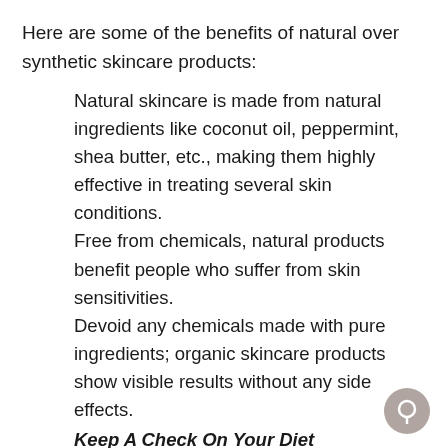Here are some of the benefits of natural over synthetic skincare products:
Natural skincare is made from natural ingredients like coconut oil, peppermint, shea butter, etc., making them highly effective in treating several skin conditions.
Free from chemicals, natural products benefit people who suffer from skin sensitivities.
Devoid any chemicals made with pure ingredients; organic skincare products show visible results without any side effects.
Keep A Check On Your Diet
While we often use skincare products to care for our skin, our diet also plays a major role in revitalizing our skin from the inside. What you eat is important because your skin is one of the first